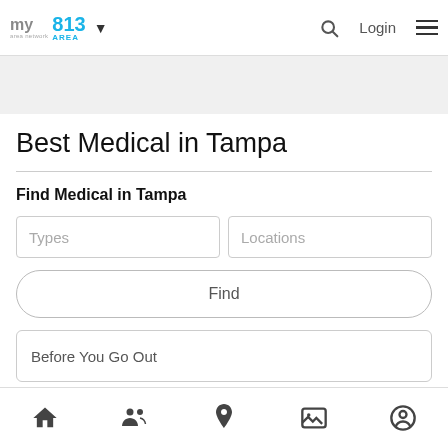[Figure (screenshot): Website header with 'my area network' logo, '813 AREA' in blue, dropdown arrow, search icon, Login text, and hamburger menu]
Best Medical in Tampa
Find Medical in Tampa
[Figure (screenshot): Search form with 'Types' and 'Locations' input boxes, a 'Find' button, and a 'Before You Go Out' input box]
[Figure (screenshot): Bottom navigation bar with home, people/groups, location pin, image/gallery, and profile/account icons]